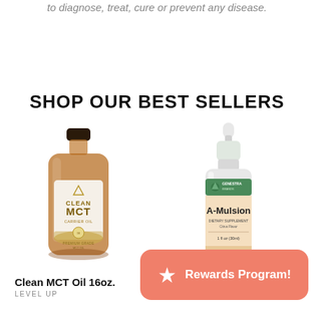to diagnose, treat, cure or prevent any disease.
SHOP OUR BEST SELLERS
[Figure (photo): Amber glass bottle of Clean MCT Carrier Oil 16oz by Level Up]
Clean MCT Oil 16oz.
LEVEL UP
[Figure (photo): White dropper bottle of A-Mulsion dietary supplement with citrus flavor by Genestra, 1 fl oz (30ml)]
GENESTRA
Rewards Program!